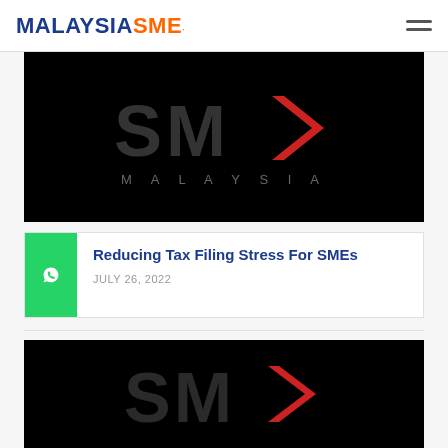MALAYSIA SME
[Figure (logo): SME Malaysia logo on black background with large dark SME text and red arrow, MALAYSIA text below in grey]
Reducing Tax Filing Stress For SMEs
JULY 26, 2022
[Figure (logo): SME Malaysia logo on black background with large dark SME text and red arrow chevron]